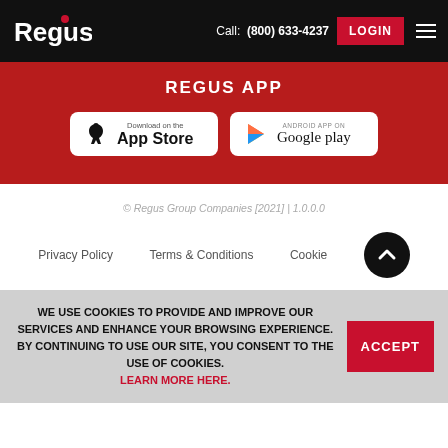Regus | Call: (800) 633-4237 | LOGIN
REGUS APP
[Figure (screenshot): Download on the App Store button and ANDROID APP ON Google play button]
© Regus Group Companies [2021] | 1.0.0.0
Privacy Policy  Terms & Conditions  Cookie
WE USE COOKIES TO PROVIDE AND IMPROVE OUR SERVICES AND ENHANCE YOUR BROWSING EXPERIENCE. BY CONTINUING TO USE OUR SITE, YOU CONSENT TO THE USE OF COOKIES. LEARN MORE HERE.